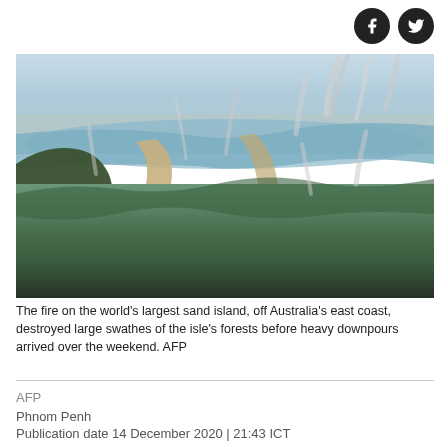[Figure (photo): Aerial photograph of Fraser Island (K'gari), the world's largest sand island off Australia's east coast, showing smoke rising from bushfires burning through dense forest vegetation, with sandy waterways and coastline visible]
The fire on the world's largest sand island, off Australia's east coast, destroyed large swathes of the isle's forests before heavy downpours arrived over the weekend. AFP
AFP
Phnom Penh
Publication date 14 December 2020 | 21:43 ICT